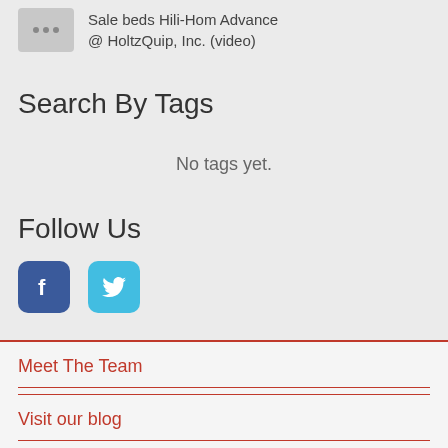Sale beds Hili-Hom Advance @ HoltzQuip, Inc. (video)
Search By Tags
No tags yet.
Follow Us
[Figure (illustration): Facebook and Twitter social media icon buttons]
Meet The Team
Visit our blog
Contact Us